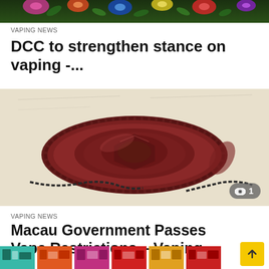[Figure (photo): Top portion of a floral pattern image, cropped, showing colorful flowers on dark background]
VAPING NEWS
DCC to strengthen stance on vaping -...
[Figure (photo): Close-up photo of a dark red/maroon wax seal on a document with a chain visible. A view count badge showing eye icon and '1' is in the bottom right corner.]
VAPING NEWS
Macau Government Passes Vape Restrictions – Vaping...
[Figure (photo): Bottom strip showing colorful product images partially visible]